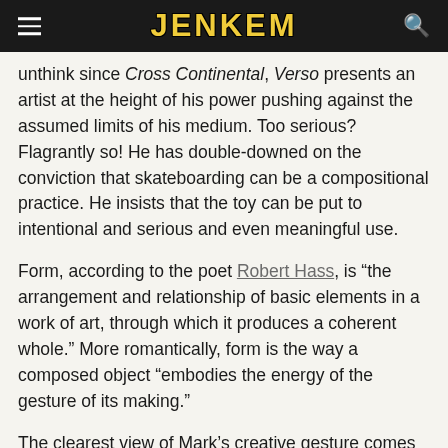JENKEM
unthink since Cross Continental, Verso presents an artist at the height of his power pushing against the assumed limits of his medium. Too serious? Flagrantly so! He has double-downed on the conviction that skateboarding can be a compositional practice. He insists that the toy can be put to intentional and serious and even meaningful use.
Form, according to the poet Robert Hass, is “the arrangement and relationship of basic elements in a work of art, through which it produces a coherent whole.” More romantically, form is the way a composed object “embodies the energy of the gesture of its making.”
The clearest view of Mark’s creative gesture comes in the fourth movement of Verso, where we find the “ender” behind the delayed release. One announcement of the gesture is the paint-dripped sign bearing an X of lines